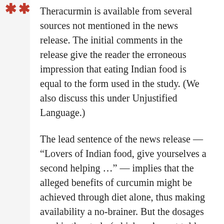Theracurmin is available from several sources not mentioned in the news release. The initial comments in the release give the reader the erroneous impression that eating Indian food is equal to the form used in the study. (We also discuss this under Unjustified Language.)
The lead sentence of the news release — "Lovers of Indian food, give yourselves a second helping …" — implies that the alleged benefits of curcumin might be achieved through diet alone, thus making availability a no-brainer. But the dosages used in the study (which we're not told are about three times the commonly recommended dose) require oral supplements, which certainly are widely available in health stores and online, but